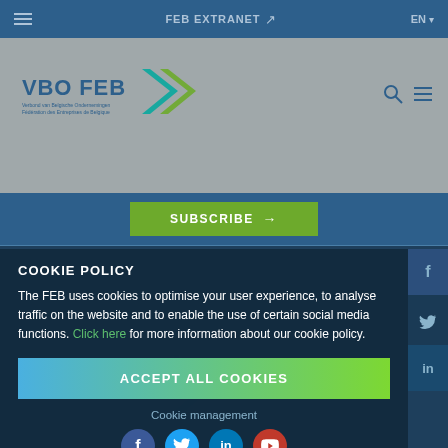FEB EXTRANET ↗  EN
[Figure (logo): VBO FEB logo with green/teal double chevron arrow and subtitle text]
SUBSCRIBE →
COOKIE POLICY
The FEB uses cookies to optimise your user experience, to analyse traffic on the website and to enable the use of certain social media functions. Click here for more information about our cookie policy.
ACCEPT ALL COOKIES
Cookie management